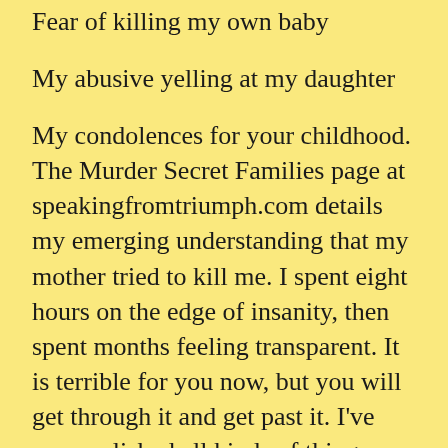Fear of killing my own baby
My abusive yelling at my daughter
My condolences for your childhood. The Murder Secret Families page at speakingfromtriumph.com details my emerging understanding that my mother tried to kill me. I spent eight hours on the edge of insanity, then spent months feeling transparent. It is terrible for you now, but you will get through it and get past it. I've accomplished all kinds of things since. The second half of my life will be far better than the first half. It will be the same for you. Focus on taking care of yourself for now.
A few years ago, I discovered a way to ease my PTSD terrors. I will soon republish a blog post about it. Perhaps it can help you discover your